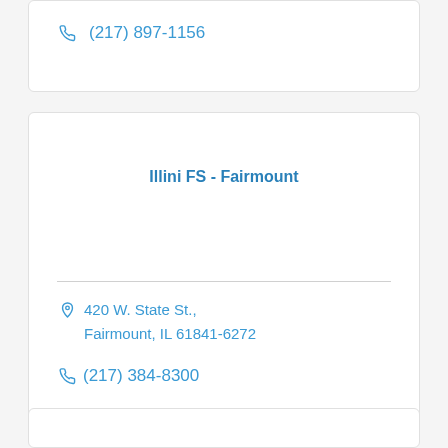(217) 897-1156
Illini FS - Fairmount
420 W. State St., Fairmount, IL 61841-6272
(217) 384-8300